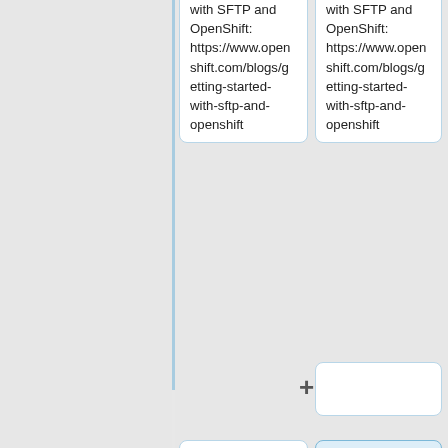* Getting started with SFTP and OpenShift: https://www.openshift.com/blogs/getting-started-with-sftp-and-openshift
* Getting started with SFTP and OpenShift: https://www.openshift.com/blogs/getting-started-with-sftp-and-openshift
+ (empty card)
* What is Openstack? A Quick OpenStack Tutorial: http://getcloudifly.org/2014/07/10/what-is-openstack-tutorial.html
+ (empty card)